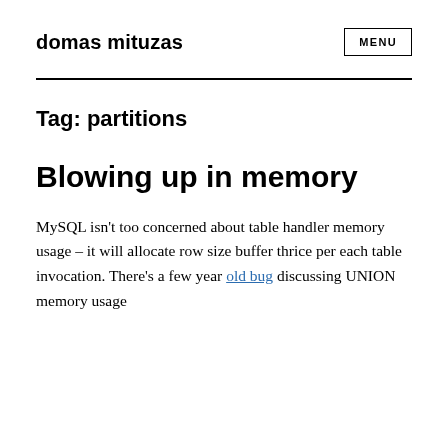domas mituzas
Tag: partitions
Blowing up in memory
MySQL isn't too concerned about table handler memory usage – it will allocate row size buffer thrice per each table invocation. There's a few year old bug discussing UNION memory usage